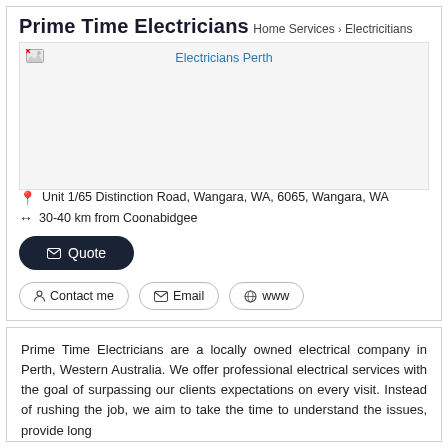Prime Time Electricians
Home Services > Electricitians
[Figure (photo): Broken image placeholder with link 'Electricians Perth']
Unit 1/65 Distinction Road, Wangara, WA, 6065, Wangara, WA
30-40 km from Coonabidgee
Quote
Contact me   Email   www
Prime Time Electricians are a locally owned electrical company in Perth, Western Australia. We offer professional electrical services with the goal of surpassing our clients expectations on every visit. Instead of rushing the job, we aim to take the time to understand the issues, provide long